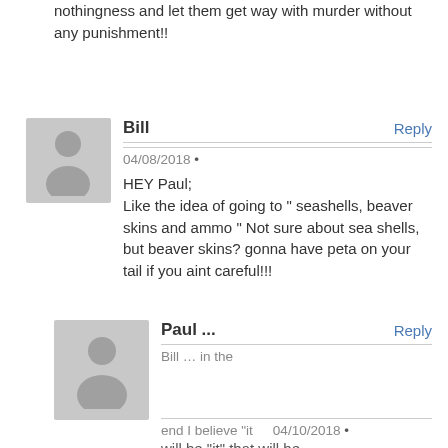nothingness and let them get way with murder without any punishment!!
Bill
04/08/2018
HEY Paul;
Like the idea of going to " seashells, beaver skins and ammo " Not sure about sea shells, but beaver skins? gonna have peta on your tail if you aint careful!!!
Paul ...
04/10/2018
Bill … in the end I believe “it will be “it” that will be...